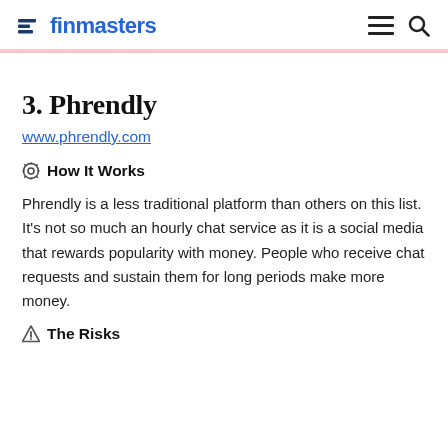finmasters
3. Phrendly
www.phrendly.com
⚙ How It Works
Phrendly is a less traditional platform than others on this list. It's not so much an hourly chat service as it is a social media that rewards popularity with money. People who receive chat requests and sustain them for long periods make more money.
△ The Risks